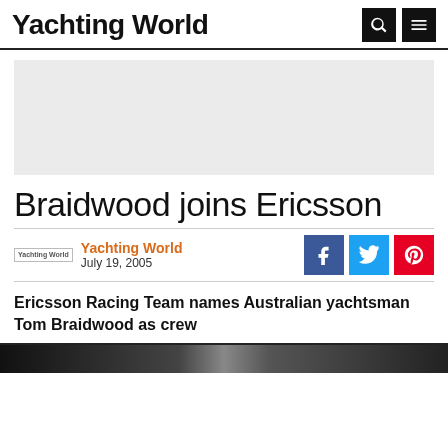Yachting World
[Figure (other): Advertisement placeholder grey box]
Braidwood joins Ericsson
Yachting World
July 19, 2005
Ericsson Racing Team names Australian yachtsman Tom Braidwood as crew
[Figure (photo): Partial photo strip at bottom of page]